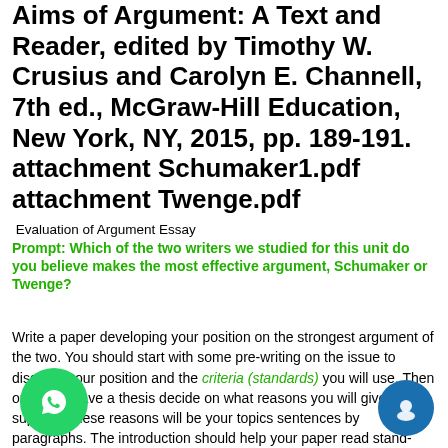Aims of Argument: A Text and Reader, edited by Timothy W. Crusius and Carolyn E. Channell, 7th ed., McGraw-Hill Education, New York, NY, 2015, pp. 189-191. attachment Schumaker1.pdf attachment Twenge.pdf
Evaluation of Argument Essay
Prompt: Which of the two writers we studied for this unit do you believe makes the most effective argument, Schumaker or Twenge?
Write a paper developing your position on the strongest argument of the two. You should start with some pre-writing on the issue to discover your position and the criteria (standards) you will use. Then once you have a thesis decide on what reasons you will give for its support. These reasons will be your topics sentences by paragraphs. The introduction should help your paper read stand-along essay rather than as a mere response to a question asked by a professor. Then flesh out examples and